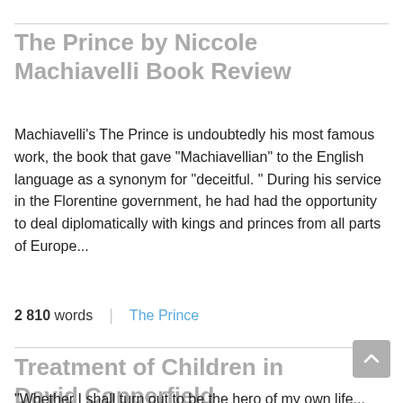The Prince by Niccole Machiavelli Book Review
Machiavelli's The Prince is undoubtedly his most famous work, the book that gave "Machiavellian" to the English language as a synonym for "deceitful. " During his service in the Florentine government, he had had the opportunity to deal diplomatically with kings and princes from all parts of Europe...
2 810 words | The Prince
Treatment of Children in David Copperfield
"Whether I shall turn out to be the hero of my own life...